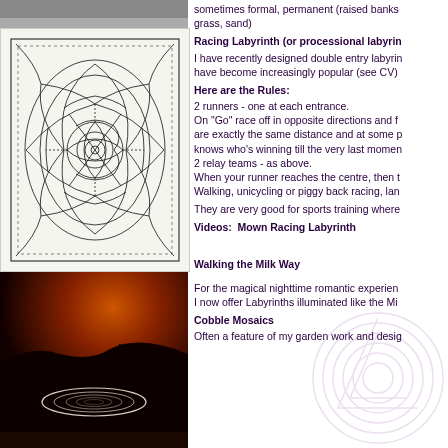[Figure (photo): Top strip of a photo, cropped at top]
[Figure (illustration): Black and white line drawing of a floral/mandala labyrinth design]
[Figure (photo): Nighttime photo of a glowing labyrinth shape illuminated in orange/dark sky landscape]
sometimes formal, permanent (raised banks grass, sand)
Racing Labyrinth (or processional labyrin
I have recently designed double entry labyrin have become increasingly popular (see CV)
Here are the Rules:
2 runners - one at each entrance.
On "Go" race off in opposite directions and f are exactly the same distance and at some p knows who's winning till the very last momen
2 relay teams - as above.
When your runner reaches the centre, then t Walking, unicycling or piggy back racing, lan
They are very good for sports training where
Videos:  Mown Racing Labyrinth
Walking the Milk Way
For the magical nighttime romantic experien I now offer Labyrinths illuminated like the Mi
Cobble Mosaics
Often a feature of my garden work and desig